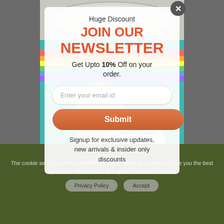[Figure (screenshot): Background showing cat food can (Weruva brand) with colorful teal label, anime-style cat character, rainbow design. Text on can: CHICKEN & GRAVY, PAT A DOOTIE!, MINCED-STYLE | LAND & SEA | IN GRAVY]
Huge Discount
JOIN OUR NEWSLETTER
Get Upto 10% Off on your order.
Enter your email id
Submit
Signup for exclusive updates, new arrivals & insider only discounts
The cookie settings on this website are set to 'allow all cookies' to give you the best experience. Please click Accept to continue to the site.
Privacy Policy
Accept